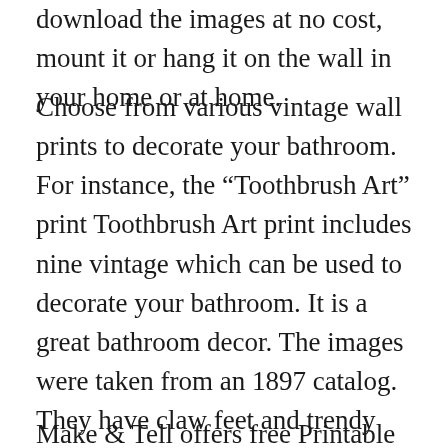download the images at no cost, mount it or hang it on the wall in your home or at home.
Choose from various vintage wall prints to decorate your bathroom. For instance, the “Toothbrush Art” print Toothbrush Art print includes nine vintage which can be used to decorate your bathroom. It is a great bathroom decor. The images were taken from an 1897 catalog. They have claw feet and trendy stripes, as well as a large shower head, and tile that is set on the wall. This vintage theme will make bathrooms appear like they’re at the time of the Renaissance!
Make & Tell offers free Printable Wall Art